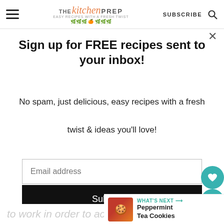THE kitchen PREP — SUBSCRIBE
Sign up for FREE recipes sent to your inbox!
No spam, just delicious, easy recipes with a fresh twist & ideas you'll love!
Email address
Subscribe
to work in order to accomplish
WHAT'S NEXT → Peppermint Tea Cookies